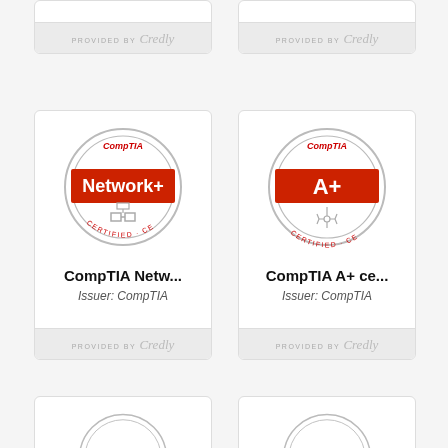[Figure (logo): Partial CompTIA certification badge card - top left, showing only footer with 'PROVIDED BY Credly']
[Figure (logo): Partial CompTIA certification badge card - top right, showing only footer with 'PROVIDED BY Credly']
[Figure (logo): CompTIA Network+ Certified CE badge - circular gray border badge with red banner saying Network+, CompTIA logo on top, network icon below]
CompTIA Netw...
Issuer: CompTIA
[Figure (logo): CompTIA A+ Certified CE badge - circular gray border badge with red banner saying A+, CompTIA logo on top, tech icon below]
CompTIA A+ ce...
Issuer: CompTIA
[Figure (logo): Partial CompTIA certification badge card - bottom left, partially visible]
[Figure (logo): Partial CompTIA certification badge card - bottom right, partially visible]